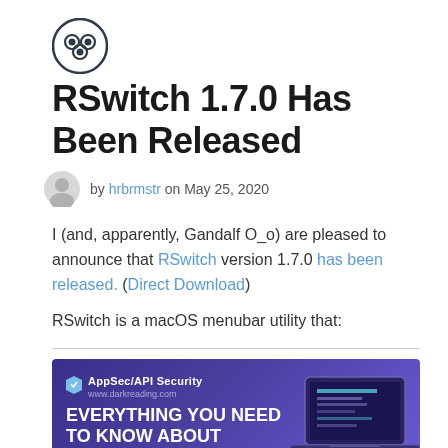[Figure (logo): Circular logo icon with three overlapping circles representing people/community, dark navy outline on white background]
RSwitch 1.7.0 Has Been Released
by hrbrmstr on May 25, 2020
I (and, apparently, Gandalf O_o) are pleased to announce that RSwitch version 1.7.0 has been released. (Direct Download)
RSwitch is a macOS menubar utility that:
[Figure (photo): Advertisement banner for AppSec/API Security event. Purple/blue gradient background with laptop graphic. Text: EVERYTHING YOU NEED TO KNOW ABOUT Appsec/Api Security. Sept. 13, 2022 | Virtual 10:00 am - 3:00 pm ET. Register Now button in teal.]